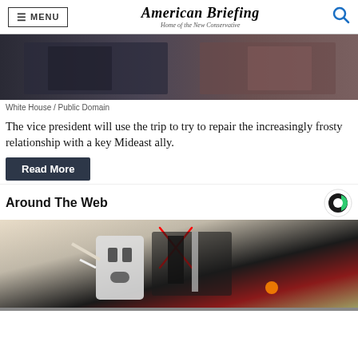MENU | American Briefing Home of the New Conservative
[Figure (photo): Photo of two people in a meeting, one in a dark suit and one in a dark red jacket, sitting at a table. White House / Public Domain.]
White House / Public Domain
The vice president will use the trip to try to repair the increasingly frosty relationship with a key Mideast ally.
Read More
Around The Web
[Figure (photo): Close-up photo of a hand plugging an electrical outlet, showing exposed wiring with a red arrow pointing to a hazard.]